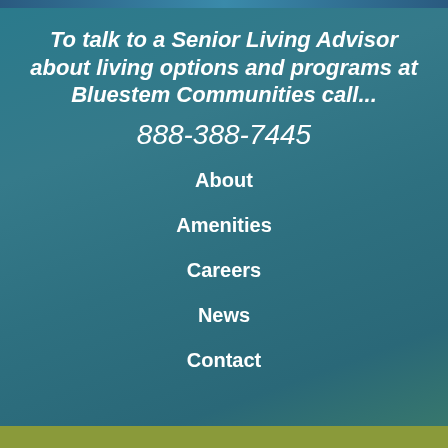To talk to a Senior Living Advisor about living options and programs at Bluestem Communities call...
888-388-7445
About
Amenities
Careers
News
Contact